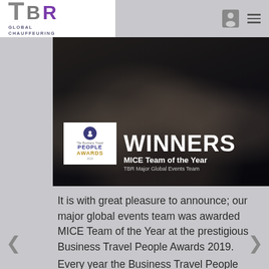[Figure (logo): TBR Global Chauffeuring logo — stylized TBR letters in grey/purple with 'GLOBAL CHAUFFEURING' text below]
[Figure (photo): Award winners photo: group of people at an event dinner table, dark background, overlaid with Business Travel People Awards 2019 badge and text 'WINNERS — MICE Team of the Year — TBR Major Global Events Team']
It is with great pleasure to announce; our major global events team was awarded MICE Team of the Year at the prestigious Business Travel People Awards 2019.
Every year the Business Travel People Awards recognise the outstanding individuals and